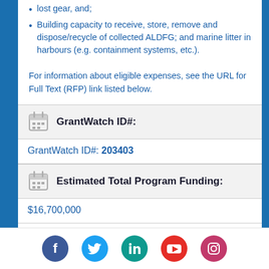lost gear, and;
Building capacity to receive, store, remove and dispose/recycle of collected ALDFG; and marine litter in harbours (e.g. containment systems, etc.).
For information about eligible expenses, see the URL for Full Text (RFP) link listed below.
GrantWatch ID#:
GrantWatch ID#: 203403
Estimated Total Program Funding:
$16,700,000
[Figure (infographic): Social media icons: Facebook (blue), Twitter (light blue), LinkedIn (teal), YouTube (red), Instagram (pink/purple)]